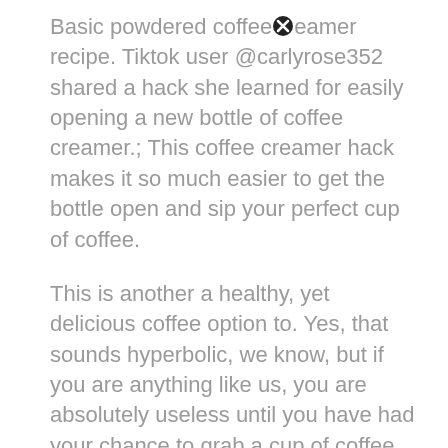Basic powdered coffee creamer recipe. Tiktok user @carlyrose352 shared a hack she learned for easily opening a new bottle of coffee creamer.; This coffee creamer hack makes it so much easier to get the bottle open and sip your perfect cup of coffee.
This is another a healthy, yet delicious coffee option to. Yes, that sounds hyperbolic, we know, but if you are anything like us, you are absolutely useless until you have had your chance to grab a cup of coffee (or two). The coffee creamer hack went viral.
It's a struggle we all know well — you are up early, bleary eyed, and just want a cup of coffee. The post tiktoker's coffee creamer hack will make mornings slightly easier appeared first on in the know. Opening coffee creamer just got a